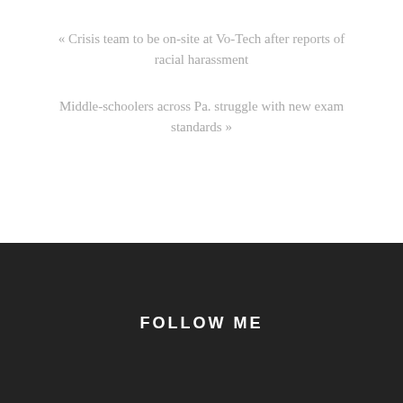« Crisis team to be on-site at Vo-Tech after reports of racial harassment
Middle-schoolers across Pa. struggle with new exam standards »
FOLLOW ME